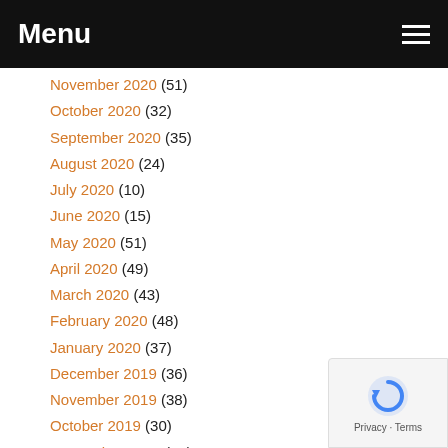Menu
November 2020 (51)
October 2020 (32)
September 2020 (35)
August 2020 (24)
July 2020 (10)
June 2020 (15)
May 2020 (51)
April 2020 (49)
March 2020 (43)
February 2020 (48)
January 2020 (37)
December 2019 (36)
November 2019 (38)
October 2019 (30)
September 2019 (51)
August 2019 (19)
July 2019 (20)
June 2019 (21)
May 2019 (9)